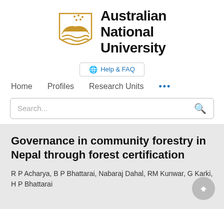[Figure (logo): Australian National University logo with shield and wordmark]
Help & FAQ
Home   Profiles   Research Units   ...
Search...
Governance in community forestry in Nepal through forest certification
R P Acharya, B P Bhattarai, Nabaraj Dahal, RM Kunwar, G Karki, H P Bhattarai